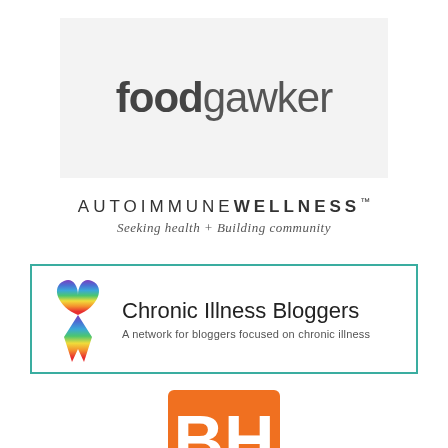[Figure (logo): foodgawker logo: light gray rectangle with 'food' in bold dark gray and 'gawker' in regular weight gray, large sans-serif font]
[Figure (logo): Autoimmune Wellness logo: 'AUTOIMMUNE' in thin spaced caps followed by 'WELLNESS' in bold spaced caps with TM mark, subtitle 'Seeking health + Building community' in italic serif]
[Figure (logo): Chronic Illness Bloggers logo: teal-bordered rectangle containing a rainbow awareness ribbon on the left, 'Chronic Illness Bloggers' in large sans-serif, and 'A network for bloggers focused on chronic illness' as subtitle]
[Figure (logo): BH logo: orange square with white letters B and H in bold, partially visible at bottom of page]